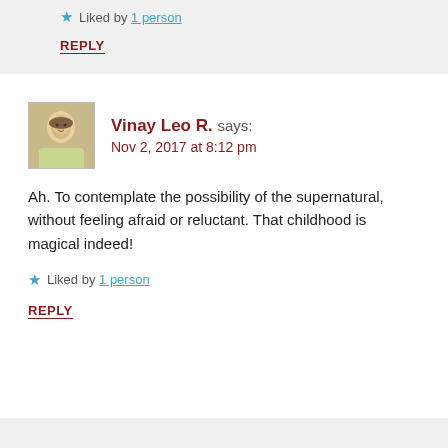Liked by 1 person
REPLY
Vinay Leo R. says: Nov 2, 2017 at 8:12 pm
Ah. To contemplate the possibility of the supernatural, without feeling afraid or reluctant. That childhood is magical indeed!
Liked by 1 person
REPLY